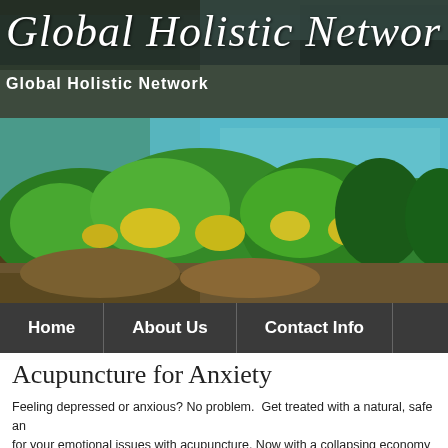Global Holistic Network
[Figure (photo): Nature landscape photo showing green vegetation, yellow wildflowers on rocky cliffs with turquoise water in the background]
Acupuncture for Anxiety
Feeling depressed or anxious? No problem.  Get treated with a natural, safe and for your emotional issues with acupuncture. Now with a collapsing economy and dole there is so much pressure at home and work places making so many peop sad who eventually end up being depressed, anxious or both.
The physical health of the individual is directly influenced by his/her state of em This is because the body and mind are strongly connected to each other.  This e herbal medicine, and lifestyle and diet changes are parts of acupuncture thera